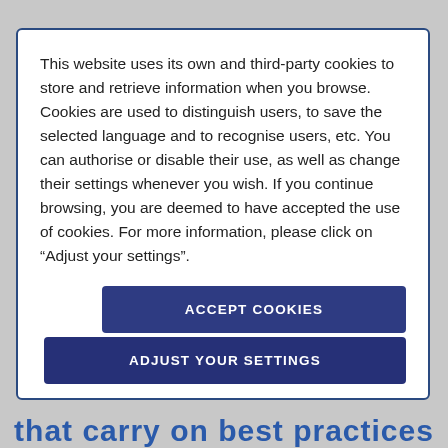This website uses its own and third-party cookies to store and retrieve information when you browse. Cookies are used to distinguish users, to save the selected language and to recognise users, etc. You can authorise or disable their use, as well as change their settings whenever you wish. If you continue browsing, you are deemed to have accepted the use of cookies. For more information, please click on “Adjust your settings”.
ACCEPT COOKIES
ADJUST YOUR SETTINGS
that carry on best practices